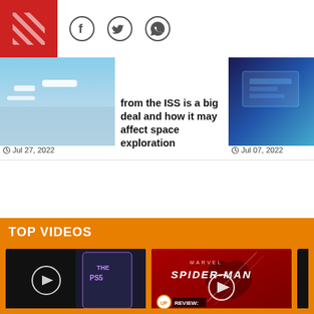Header bar with red logo and social icons (Facebook, Twitter, WhatsApp)
from the ISS is a big deal and how it may affect space exploration
Jul 27, 2022
Jul 07, 2022
TOP VIDEOS
[Figure (screenshot): Video thumbnail: PlayStation 5 buying guide video]
VIDEOS
PlayStation 5 Buying Guide (Hindi+English): All...
2022/08/19
[Figure (screenshot): Video thumbnail: Marvel Spider-Man Remastered PC Game Review with SPIDER-MAN branding on red background]
VIDEOS
Marvel's Spider-Man Remastered PC Game Review
2022/08/17
VID...
Top... Play...
20...